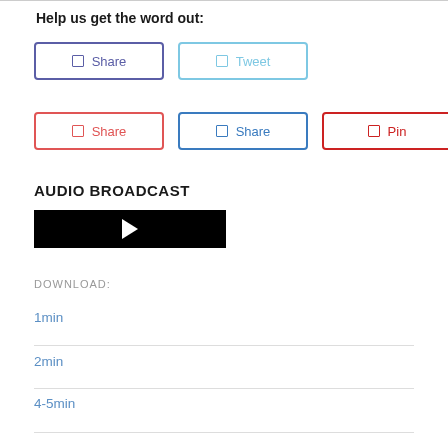Help us get the word out:
[Figure (infographic): Social sharing buttons row 1: Share (Facebook, purple border) and Tweet (Twitter, light blue border)]
[Figure (infographic): Social sharing buttons row 2: Share (Google+, red border), Share (LinkedIn, blue border), Pin (Pinterest, red border)]
AUDIO BROADCAST
[Figure (other): Black audio player bar with white play triangle button]
DOWNLOAD:
1min
2min
4-5min